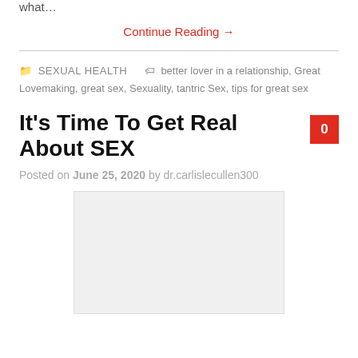what…
Continue Reading →
SEXUAL HEALTH   better lover in a relationship, Great Lovemaking, great sex, Sexuality, tantric Sex, tips for great sex
It's Time To Get Real About SEX
Posted on June 25, 2020 by dr.carlislecullen300
[Figure (other): Light gray rectangular placeholder image]